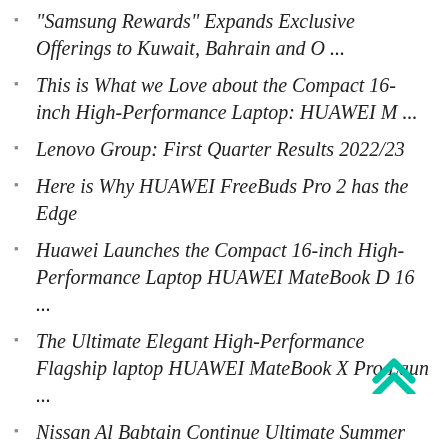"Samsung Rewards" Expands Exclusive Offerings to Kuwait, Bahrain and O ...
This is What we Love about the Compact 16-inch High-Performance Laptop: HUAWEI M ...
Lenovo Group: First Quarter Results 2022/23
Here is Why HUAWEI FreeBuds Pro 2 has the Edge
Huawei Launches the Compact 16-inch High-Performance Laptop HUAWEI MateBook D 16 ...
The Ultimate Elegant High-Performance Flagship laptop HUAWEI MateBook X Pro Laun ...
Nissan Al Babtain Continue Ultimate Summer Offers
It's Your Story, Wear it your Way
HUAWEI MateBook X Pro Depicted and Reviewed: